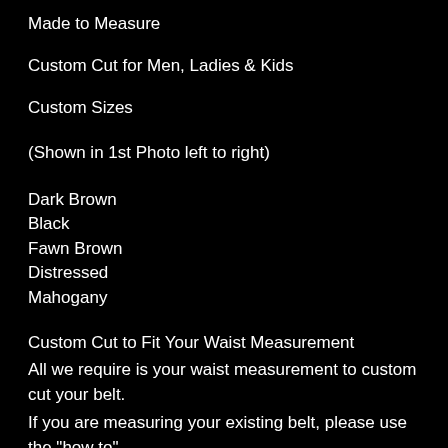Made to Measure
Custom Cut for Men, Ladies & Kids
Custom Sizes
(Shown in 1st Photo left to right)
Dark Brown
Black
Fawn Brown
Distressed
Mahogany
Custom Cut to Fit Your Waist Measurement
All we require is your waist measurement to custom cut your belt.
If you are measuring your existing belt, please use the "how to"